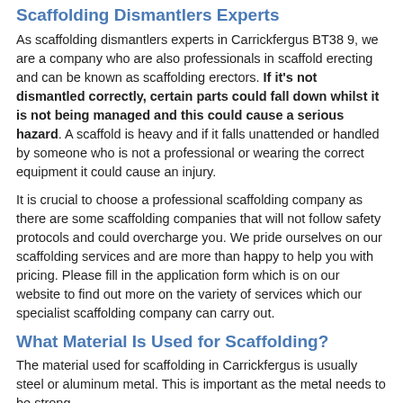Scaffolding Dismantlers Experts
As scaffolding dismantlers experts in Carrickfergus BT38 9, we are a company who are also professionals in scaffold erecting and can be known as scaffolding erectors. If it's not dismantled correctly, certain parts could fall down whilst it is not being managed and this could cause a serious hazard. A scaffold is heavy and if it falls unattended or handled by someone who is not a professional or wearing the correct equipment it could cause an injury.
It is crucial to choose a professional scaffolding company as there are some scaffolding companies that will not follow safety protocols and could overcharge you. We pride ourselves on our scaffolding services and are more than happy to help you with pricing. Please fill in the application form which is on our website to find out more on the variety of services which our specialist scaffolding company can carry out.
What Material Is Used for Scaffolding?
The material used for scaffolding in Carrickfergus is usually steel or aluminum metal. This is important as the metal needs to be strong